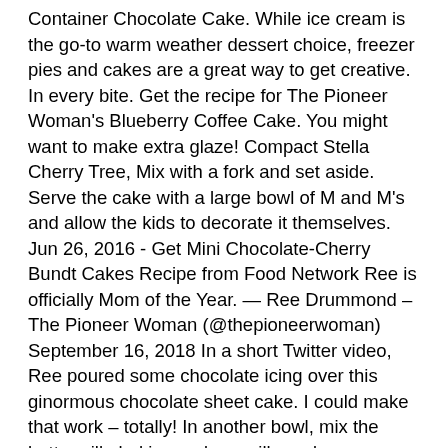Container Chocolate Cake. While ice cream is the go-to warm weather dessert choice, freezer pies and cakes are a great way to get creative. In every bite. Get the recipe for The Pioneer Woman's Blueberry Coffee Cake. You might want to make extra glaze! Compact Stella Cherry Tree, Mix with a fork and set aside. Serve the cake with a large bowl of M and M's and allow the kids to decorate it themselves. Jun 26, 2016 - Get Mini Chocolate-Cherry Bundt Cakes Recipe from Food Network Ree is officially Mom of the Year. — Ree Drummond – The Pioneer Woman (@thepioneerwoman) September 16, 2018 In a short Twitter video, Ree poured some chocolate icing over this ginormous chocolate sheet cake. I could make that work – totally! In another bowl, mix the buttermilk, baking soda, vanilla and eggs. Claudine in Fort Worth, Tx. In a measuring cup, pour the buttermilk and add beaten eggs, baking soda, and vanilla. Ckc Chow Chow Breeders In Canada, Ree makes crispy breaded Easy Pork Chops, amazing Smashed Potatoes and a great take on Baked Beans with peppers. Two Convention Boulevard, Atlantic City, Nj 08401, Thank you again for sharing all your wonderful recipes. GERMAN CHOCOLATE CHIP MUFFINS Would love your thoughts, please comment. All Rights Reserved. Meanwhile to make